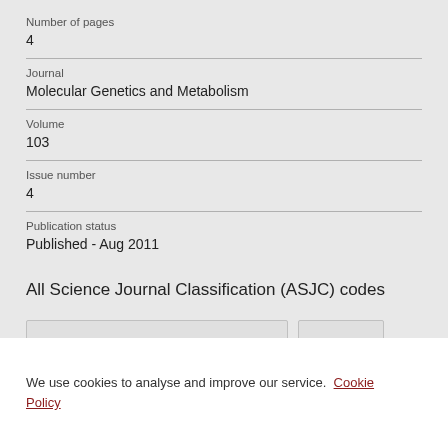Number of pages
4
Journal
Molecular Genetics and Metabolism
Volume
103
Issue number
4
Publication status
Published - Aug 2011
All Science Journal Classification (ASJC) codes
We use cookies to analyse and improve our service. Cookie Policy